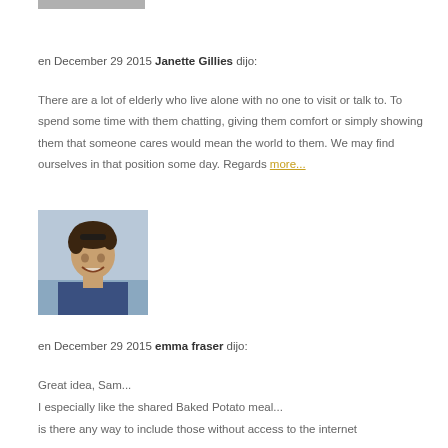[Figure (photo): Gray bar at the top, possibly a partial avatar or decorative element]
en December 29 2015 Janette Gillies dijo:
There are a lot of elderly who live alone with no one to visit or talk to. To spend some time with them chatting, giving them comfort or simply showing them that someone cares would mean the world to them. We may find ourselves in that position some day. Regards more...
[Figure (photo): Profile photo of a woman smiling outdoors near water]
en December 29 2015 emma fraser dijo:
Great idea, Sam...
I especially like the shared Baked Potato meal...
is there any way to include those without access to the internet